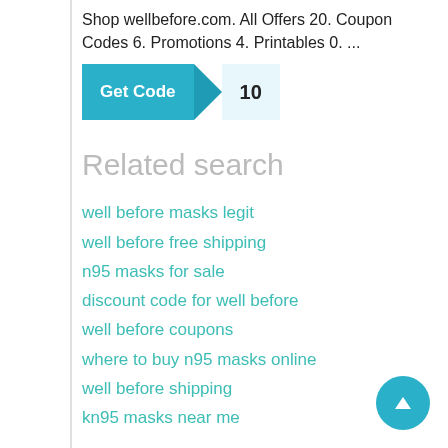Shop wellbefore.com. All Offers 20. Coupon Codes 6. Promotions 4. Printables 0. ...
[Figure (other): Get Code button with teal background and arrow/chevron shape, showing number 10]
Related search
well before masks legit
well before free shipping
n95 masks for sale
discount code for well before
well before coupons
where to buy n95 masks online
well before shipping
kn95 masks near me